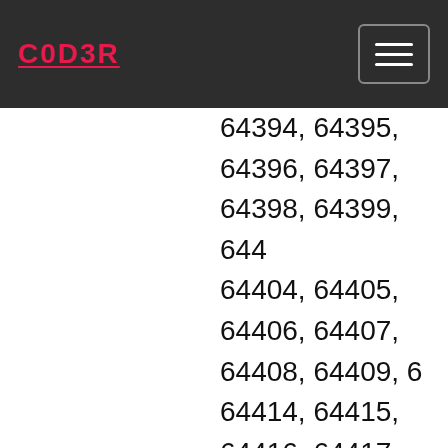C0D3R
64394, 64395, 64396, 64397, 64398, 64399, 644... 64404, 64405, 64406, 64407, 64408, 64409, 6... 64414, 64415, 64416, 64417, 64418, 64419, 64420... 64425, 64426, 64427, 64428, 64429, 64430, 64... 64435, 64436, 64437, 64438, 64439, 64440, 64... 64445, 64446, 64447, 64448, 64449, 64450, 64... 64455, 64456, 64457, 64458, 64459, 64460, 64... 64465, 64466, 64467, 64468, 64469, 64470, 64... 64475, 64476, 64477, 64478, 64479, 64480, 644... 64485, 64486, 64487, 64488, 64489, 64490, 64... 64495, 64496, 64497, 64498, 64499, 64500, 64... 64505, 64506, 64507, 64508, 64509, 64510, 64... 64516, 64517, 64518, 64519, 64520, 64521, 64522... 64527, 64528, 64529, 64530, 64531, 64532, 645... 64538, 64539, 64540, 64541, 64542, 64543, 645... 64548, 64549, 64550, 64551, 64552, 64553, 645...